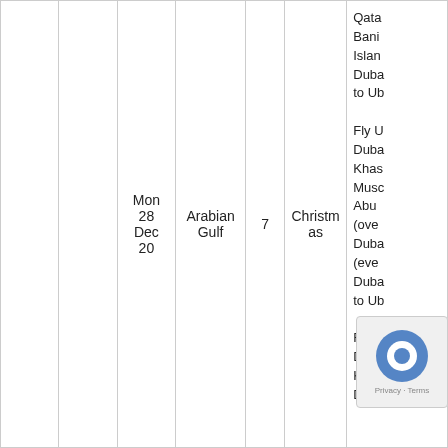|  |  | Mon 28 Dec 20 | Arabian Gulf | 7 | Christmas | Qata Bani Islan Duba to Ub Fly U Duba Khas Musc Abu (ove Duba (eve Duba to Ub Fly U Duba Khas Duba |
| --- | --- | --- | --- | --- | --- | --- |
|  |  | Mon
28
Dec
20 | Arabian
Gulf | 7 | Christmas | Qata
Bani
Islan
Duba
to Ub

Fly U
Duba
Khas
Musc
Abu
(ove
Duba
(eve
Duba
to Ub

Fly U
Duba
Khas
Duba |